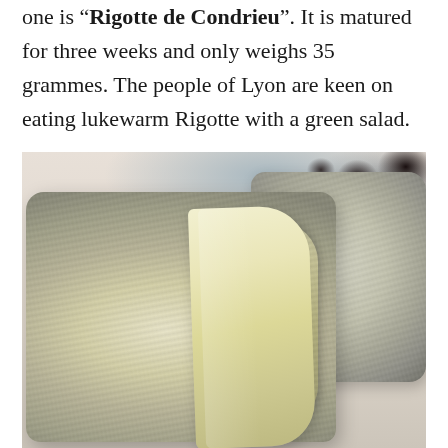one is “Rigotte de Condrieu”. It is matured for three weeks and only weighs 35 grammes. The people of Lyon are keen on eating lukewarm Rigotte with a green salad.
[Figure (photo): Close-up photograph of Rigotte de Condrieu cheese: two small cylindrical cheeses with wrinkled white rind, one cut open to reveal pale yellow interior, placed on a light surface with blurred background showing dark fruits.]